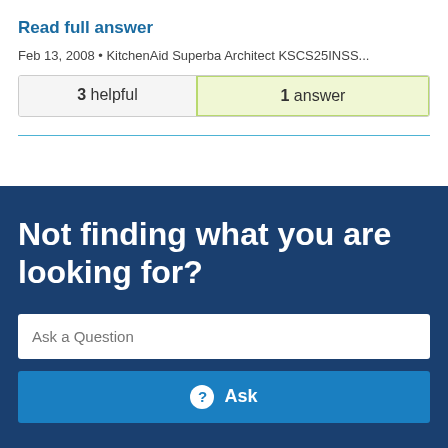Read full answer
Feb 13, 2008 • KitchenAid Superba Architect KSCS25INSS...
| 3 helpful | 1 answer |
Not finding what you are looking for?
Ask a Question
Ask
[Figure (logo): Google reCAPTCHA badge with Privacy and Terms text]